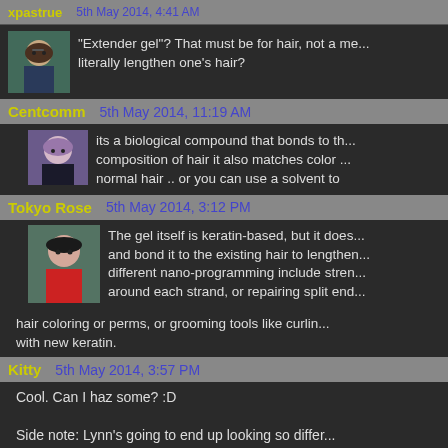xpastrue   5th May 2014, 4:41 AM
"Extender gel"? That must be for hair, not a me... literally lengthen one's hair?
Centcomm   5th May 2014, 11:19 AM
its a biological compound that bonds to th... composition of hair it also matches color ... normal hair .. or you can use a solvent to
Tokyo Rose   5th May 2014, 3:12 PM
The gel itself is keratin-based, but it does... and bond it to the existing hair to lengthen... different nano-programming include stren... around each strand, or repairing split end... hair coloring or perms, or grooming tools like curlin... with new keratin.
Kitty   5th May 2014, 3:57 PM
Cool. Can I haz some? :D

Side note: Lynn's going to end up looking so differ...
Centcomm   6th May 2014, 9:21 AM